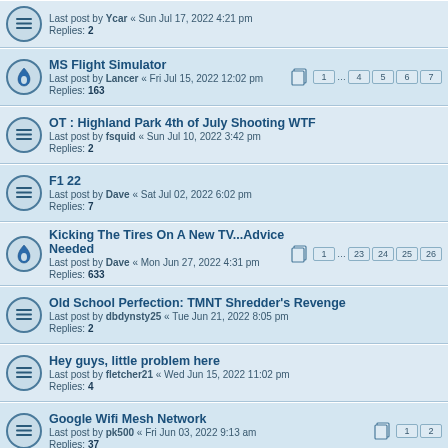Last post by Ycar « Sun Jul 17, 2022 4:21 pm
Replies: 2
MS Flight Simulator
Last post by Lancer « Fri Jul 15, 2022 12:02 pm
Replies: 163
OT : Highland Park 4th of July Shooting WTF
Last post by fsquid « Sun Jul 10, 2022 3:42 pm
Replies: 2
F1 22
Last post by Dave « Sat Jul 02, 2022 6:02 pm
Replies: 7
Kicking The Tires On A New TV...Advice Needed
Last post by Dave « Mon Jun 27, 2022 4:31 pm
Replies: 633
Old School Perfection: TMNT Shredder's Revenge
Last post by dbdynsty25 « Tue Jun 21, 2022 8:05 pm
Replies: 2
Hey guys, little problem here
Last post by fletcher21 « Wed Jun 15, 2022 11:02 pm
Replies: 4
Google Wifi Mesh Network
Last post by pk500 « Fri Jun 03, 2022 9:13 am
Replies: 37
The really great TV thread
Last post by tjung0831 « Thu May 26, 2022 7:23 pm
Replies: 1496